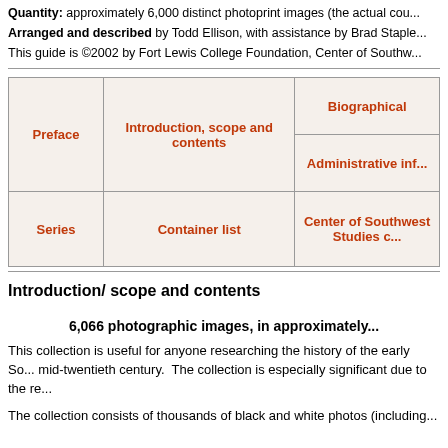Quantity: approximately 6,000 distinct photoprint images (the actual cou...
Arranged and described by Todd Ellison, with assistance by Brad Staple...
This guide is ©2002 by Fort Lewis College Foundation, Center of Southw...
| Preface | Introduction, scope and contents | Biographical |  |
|  |  | Administrative inf... |  |
| Series | Container list | Center of Southwest Studies c... |  |
Introduction/ scope and contents
6,066 photographic images, in approximately...
This collection is useful for anyone researching the history of the early So... mid-twentieth century.  The collection is especially significant due to the re...
The collection consists of thousands of black and white photos (including...